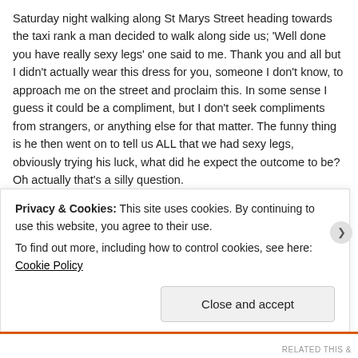Saturday night walking along St Marys Street heading towards the taxi rank a man decided to walk along side us; 'Well done you have really sexy legs' one said to me. Thank you and all but I didn't actually wear this dress for you, someone I don't know, to approach me on the street and proclaim this. In some sense I guess it could be a compliment, but I don't seek compliments from strangers, or anything else for that matter. The funny thing is he then went on to tell us ALL that we had sexy legs, obviously trying his luck, what did he expect the outcome to be? Oh actually that's a silly question.
By the Saturday night in Cardiff I really had, had enough responding to one guy who had touched my friends chest as we walked past; 'Would you do that if it was daytime?' Yeah I would was his response
Privacy & Cookies: This site uses cookies. By continuing to use this website, you agree to their use.
To find out more, including how to control cookies, see here: Cookie Policy
Close and accept